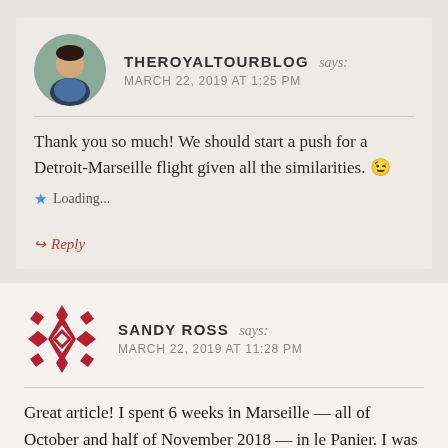THEROYALTOURBLOG says: MARCH 22, 2019 AT 1:25 PM
Thank you so much! We should start a push for a Detroit-Marseille flight given all the similarities. 😉
Loading...
Reply
SANDY ROSS says: MARCH 22, 2019 AT 11:28 PM
Great article! I spent 6 weeks in Marseille — all of October and half of November 2018 — in le Panier. I was often questioned about my choice, but my reasons for Marseille mirror yours. I might end up buying a place in this lovely, edgy city. BTW, I'm originally